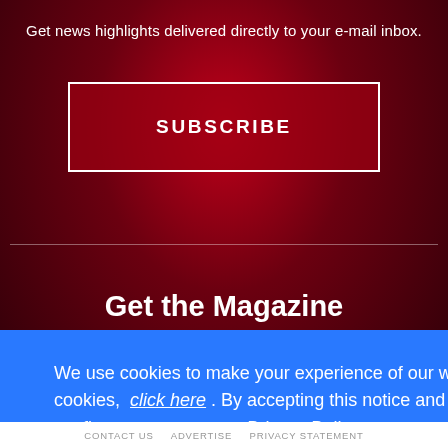Get news highlights delivered directly to your e-mail inbox.
SUBSCRIBE
Get the Magazine
We use cookies to make your experience of our website better. To find out more about cookies, click here . By accepting this notice and continuing to browse our website you confirm you accept our Privacy Policy
OK
CONTACT US   ADVERTISE   PRIVACY STATEMENT